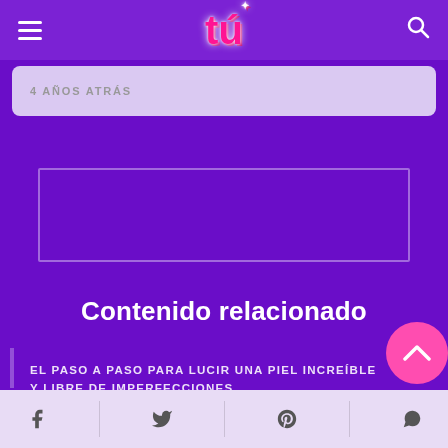tú - navigation header with hamburger menu and search icon
4 AÑOS ATRÁS
[Figure (other): Empty bordered advertisement placeholder rectangle]
Contenido relacionado
EL PASO A PASO PARA LUCIR UNA PIEL INCREÍBLE Y LIBRE DE IMPERFECCIONES
Social share bar with Facebook, Twitter, Pinterest, WhatsApp icons